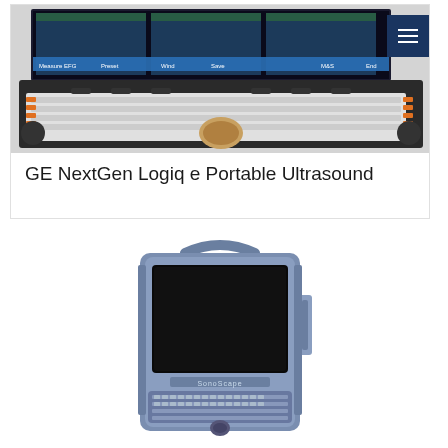[Figure (photo): GE NextGen Logiq e portable ultrasound machine shown from above/front, with keyboard, trackball, and display screen showing ultrasound images. Dark navy menu button visible in top-right corner.]
GE NextGen Logiq e Portable Ultrasound
[Figure (photo): A blue/grey portable ultrasound machine (SonoScape or similar brand) shown front-facing with black display screen, white keyboard buttons, and handle on top.]